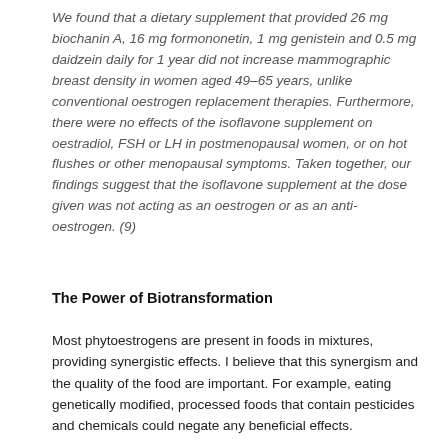We found that a dietary supplement that provided 26 mg biochanin A, 16 mg formononetin, 1 mg genistein and 0.5 mg daidzein daily for 1 year did not increase mammographic breast density in women aged 49–65 years, unlike conventional oestrogen replacement therapies. Furthermore, there were no effects of the isoflavone supplement on oestradiol, FSH or LH in postmenopausal women, or on hot flushes or other menopausal symptoms. Taken together, our findings suggest that the isoflavone supplement at the dose given was not acting as an oestrogen or as an anti-oestrogen. (9)
The Power of Biotransformation
Most phytoestrogens are present in foods in mixtures, providing synergistic effects. I believe that this synergism and the quality of the food are important. For example, eating genetically modified, processed foods that contain pesticides and chemicals could negate any beneficial effects.